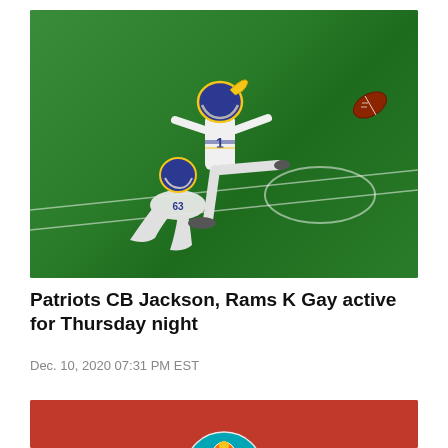[Figure (photo): NFL kicker wearing Los Angeles Rams jersey number 1 in white uniform and blue/gold helmet, kicking a football, with a holder kneeling on a green football field at night]
Patriots CB Jackson, Rams K Gay active for Thursday night
Dec. 10, 2020 07:31 PM EST
[Figure (photo): Partial view of a red background with a Miami Dolphins helmet logo at the bottom]